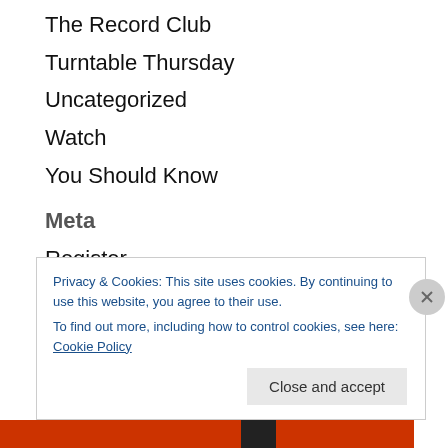The Record Club
Turntable Thursday
Uncategorized
Watch
You Should Know
Meta
Register
Log in
Entries feed
Comments feed
Privacy & Cookies: This site uses cookies. By continuing to use this website, you agree to their use.
To find out more, including how to control cookies, see here: Cookie Policy
Close and accept